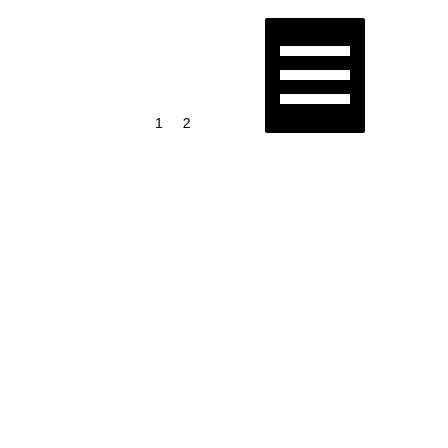ays. arned looks
[Figure (other): Black square icon with three horizontal white lines (hamburger/menu icon)]
1  2